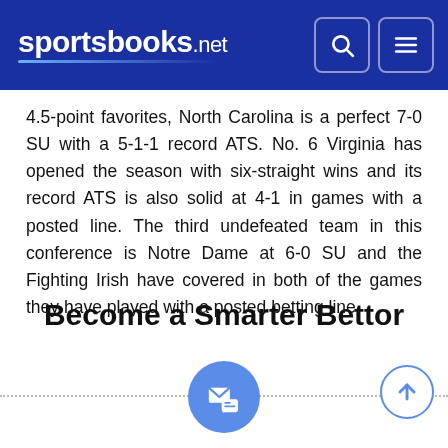sportsbooks.net
4.5-point favorites, North Carolina is a perfect 7-0 SU with a 5-1-1 record ATS. No. 6 Virginia has opened the season with six-straight wins and its record ATS is also solid at 4-1 in games with a posted line. The third undefeated team in this conference is Notre Dame at 6-0 SU and the Fighting Irish have covered in both of the games they have played with a posted betting line.
Become a Smarter Bettor
[Figure (illustration): Mail/newsletter icon inside a blue circle with dotted horizontal lines on either side, and an up-arrow icon in a blue circle outline on the right]